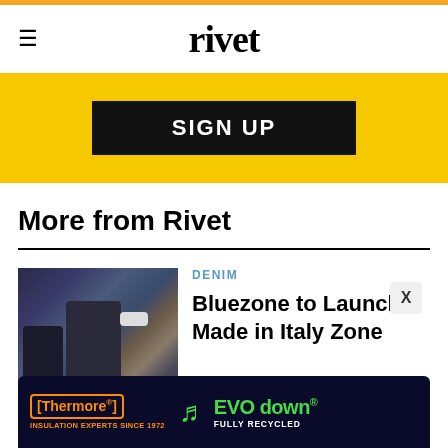rivet
[Figure (screenshot): Yellow signup banner with black button showing SIGN UP text]
More from Rivet
[Figure (photo): Two women looking at fabric samples and denim on a table, one wearing a face mask, denim jackets visible in background]
DENIM
Bluezone to Launch a Made in Italy Zone
[Figure (screenshot): Thermore EVO down advertisement - black background with orange Thermore logo and green EVO down text, INSULATION EXPERTS SINCE 1972, FULLY RECYCLED]